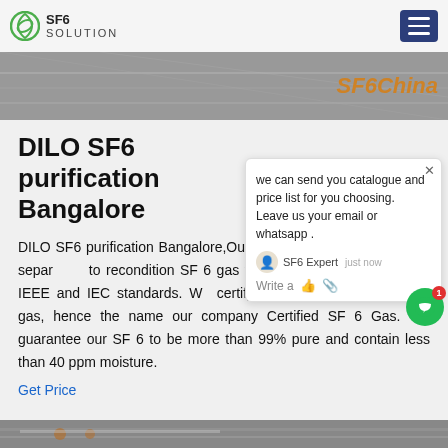SF6 SOLUTION
[Figure (photo): Hero image of SF6 equipment/piping with SFEChina watermark text in orange]
DILO SF6 purification Bangalore
DILO SF6 purification Bangalore,Our environmentally friendly gas separation to recondition SF 6 gas to a like-new quality exceeds IEEE and IEC standards. We certify each individual cylinder of gas, hence the name our company Certified SF 6 Gas. We guarantee our SF 6 to be more than 99% pure and contain less than 40 ppm moisture.
Get Price
[Figure (photo): Bottom image showing SF6 equipment piping]